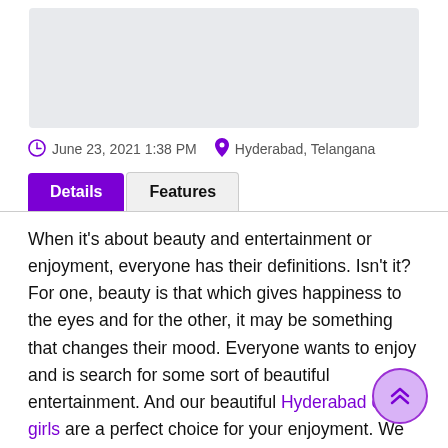[Figure (photo): Gray placeholder image area at top of page]
June 23, 2021 1:38 PM   Hyderabad, Telangana
Details   Features
When it's about beauty and entertainment or enjoyment, everyone has their definitions. Isn't it? For one, beauty is that which gives happiness to the eyes and for the other, it may be something that changes their mood. Everyone wants to enjoy and is search for some sort of beautiful entertainment. And our beautiful Hyderabad call girls are a perfect choice for your enjoyment. We welcome all the men to our world of sexually attractive escort girls. You can book in advance by paying the price and you will surely have